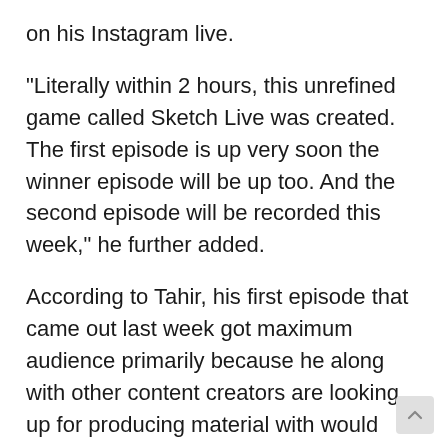on his Instagram live.
“Literally within 2 hours, this unrefined game called Sketch Live was created. The first episode is up very soon the winner episode will be up too. And the second episode will be recorded this week,” he further added.
According to Tahir, his first episode that came out last week got maximum audience primarily because he along with other content creators are looking up for producing material with would require minimum production time whilst ensuring maximum entertainment for the people sitting at home.